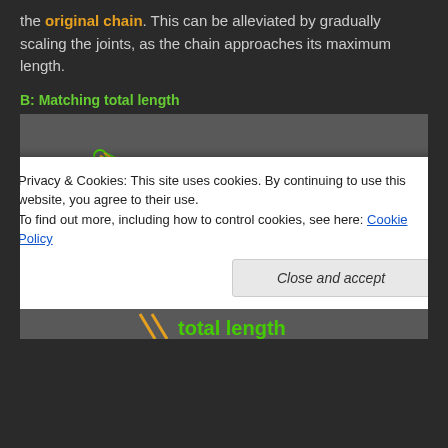the original chain. This can be alleviated by gradually scaling the joints, as the chain approaches its maximum length.
B: Matching total length
[Figure (illustration): Dark grey background illustration showing an IK chain diagram with green and orange lines forming a triangular/angular shape. Orange label 'Original chain' appears on the right side of the diagram. At the bottom, partial text 'total length' is visible in orange/green. A cookie consent overlay partially covers the lower portion of the image.]
Privacy & Cookies: This site uses cookies. By continuing to use this website, you agree to their use.
To find out more, including how to control cookies, see here: Cookie Policy
Close and accept